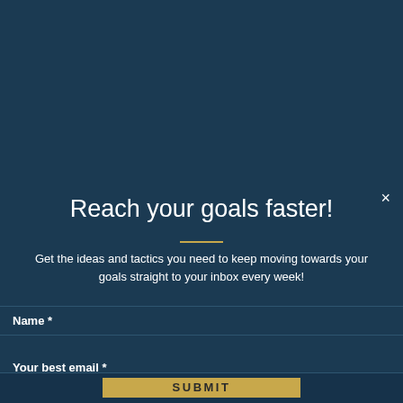3X3km consolation laps to 72.3 kilometers
I rested after the third lap and went on to the
Reach your goals faster!
Get the ideas and tactics you need to keep moving towards your goals straight to your inbox every week!
Name *
Your best email *
SUBMIT